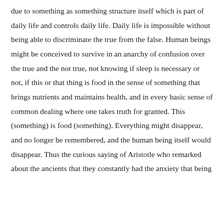due to something as something structure itself which is part of daily life and controls daily life. Daily life is impossible without being able to discriminate the true from the false. Human beings might be conceived to survive in an anarchy of confusion over the true and the not true, not knowing if sleep is necessary or not, if this or that thing is food in the sense of something that brings nutrients and maintains health, and in every basic sense of common dealing where one takes truth for granted. This (something) is food (something). Everything might disappear, and no longer be remembered, and the human being itself would disappear. Thus the curious saying of Aristotle who remarked about the ancients that they constantly had the anxiety that being